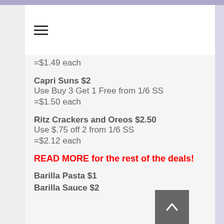=$1.49 each
Capri Suns $2
Use Buy 3 Get 1 Free from 1/6 SS
=$1.50 each
Ritz Crackers and Oreos $2.50
Use $.75 off 2 from 1/6 SS
=$2.12 each
READ MORE for the rest of the deals!
Barilla Pasta $1
Barilla Sauce $2